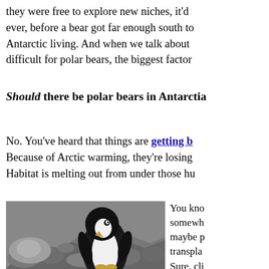they were free to explore new niches, it'd ever, before a bear got far enough south to Antarctic living. And when we talk about difficult for polar bears, the biggest factor
Should there be polar bears in Antarctia
No. You've heard that things are getting b Because of Arctic warming, they're losing Habitat is melting out from under those hu
[Figure (photo): A penguin (Adelie penguin) standing on rocky ground, black and white coloring, facing slightly right, rocky Antarctic terrain in background.]
You kno somewh maybe p transpla Sure, cli happeni